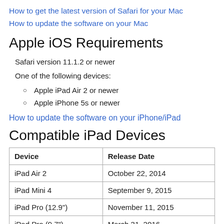How to get the latest version of Safari for your Mac
How to update the software on your Mac
Apple iOS Requirements
Safari version 11.1.2 or newer
One of the following devices:
Apple iPad Air 2 or newer
Apple iPhone 5s or newer
How to update the software on your iPhone/iPad
Compatible iPad Devices
| Device | Release Date |
| --- | --- |
| iPad Air 2 | October 22, 2014 |
| iPad Mini 4 | September 9, 2015 |
| iPad Pro (12.9") | November 11, 2015 |
| iPad Pro (9.7") | March 31, 2016 |